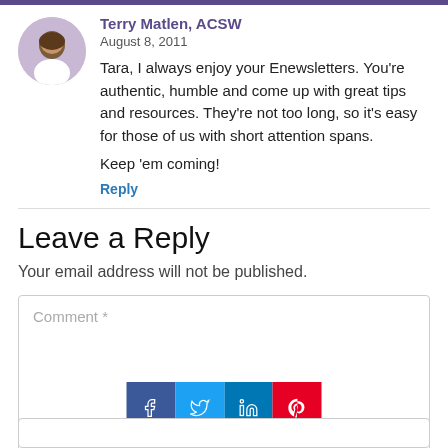Terry Matlen, ACSW
August 8, 2011
Tara, I always enjoy your Enewsletters. You're authentic, humble and come up with great tips and resources. They're not too long, so it's easy for those of us with short attention spans.

Keep 'em coming!
Reply
Leave a Reply
Your email address will not be published.
[Figure (screenshot): Comment text area input box with placeholder text 'Comment *' and social share buttons (Facebook, Twitter, LinkedIn, Pinterest) overlaid at the bottom]